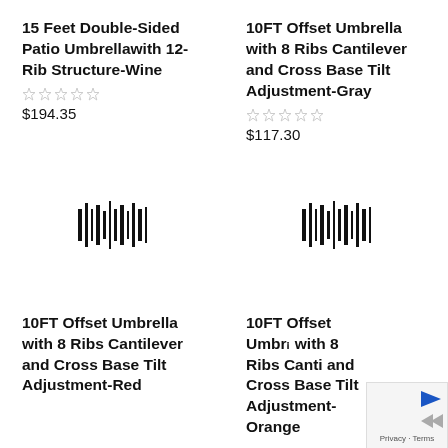15 Feet Double-Sided Patio Umbrellawith 12-Rib Structure-Wine
$194.35
10FT Offset Umbrella with 8 Ribs Cantilever and Cross Base Tilt Adjustment-Gray
$117.30
[Figure (other): Product image placeholder with barcode/audio wave icon]
[Figure (other): Product image placeholder with barcode/audio wave icon]
10FT Offset Umbrella with 8 Ribs Cantilever and Cross Base Tilt Adjustment-Red
10FT Offset Umbrella with 8 Ribs Cantilever and Cross Base Tilt Adjustment-Orange